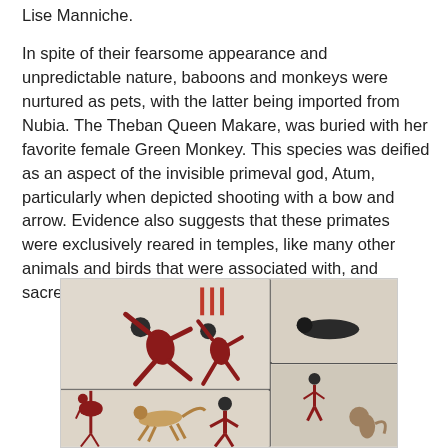Lise Manniche.
In spite of their fearsome appearance and unpredictable nature, baboons and monkeys were nurtured as pets, with the latter being imported from Nubia. The Theban Queen Makare, was buried with her favorite female Green Monkey. This species was deified as an aspect of the invisible primeval god, Atum, particularly when depicted shooting with a bow and arrow. Evidence also suggests that these primates were exclusively reared in temples, like many other animals and birds that were associated with, and sacred to, specific deities.
[Figure (photo): Ancient Egyptian wall relief or painting showing human figures in motion, possibly hunting or running scenes, along with animals. The image appears to show fragments of painted limestone reliefs with red-painted human figures and animals.]